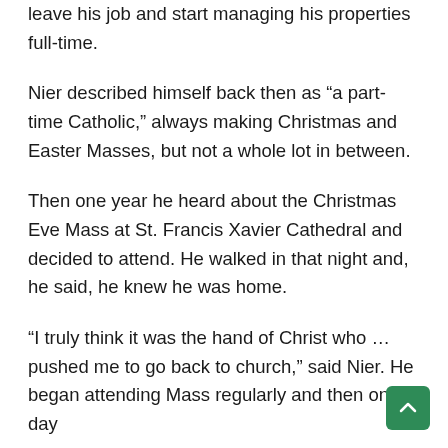leave his job and start managing his properties full-time.
Nier described himself back then as “a part-time Catholic,” always making Christmas and Easter Masses, but not a whole lot in between.
Then one year he heard about the Christmas Eve Mass at St. Francis Xavier Cathedral and decided to attend. He walked in that night and, he said, he knew he was home.
“I truly think it was the hand of Christ who … pushed me to go back to church,” said Nier. He began attending Mass regularly and then one day